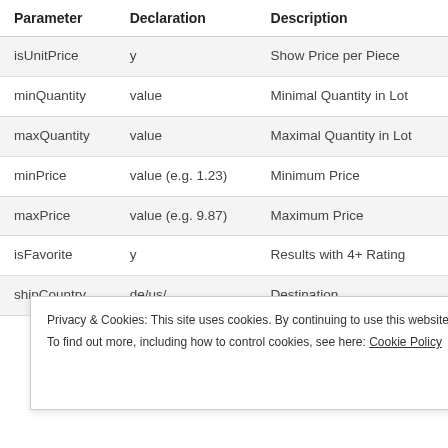| Parameter | Declaration | Description |
| --- | --- | --- |
| isUnitPrice | y | Show Price per Piece |
| minQuantity | value | Minimal Quantity in Lot |
| maxQuantity | value | Maximal Quantity in Lot |
| minPrice | value (e.g. 1.23) | Minimum Price |
| maxPrice | value (e.g. 9.87) | Maximum Price |
| isFavorite | y | Results with 4+ Rating |
| shipCountry | de/us/... | Destination |
Privacy & Cookies: This site uses cookies. By continuing to use this website, you agree to their use.
To find out more, including how to control cookies, see here: Cookie Policy